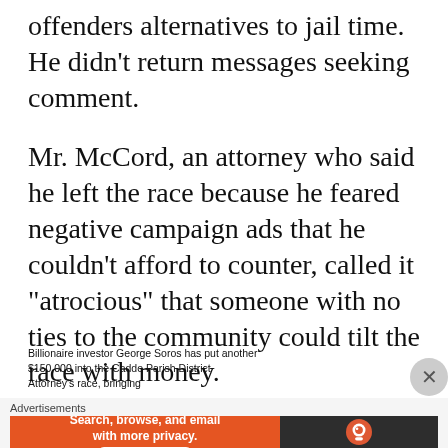offenders alternatives to jail time. He didn't return messages seeking comment.
Mr. McCord, an attorney who said he left the race because he feared negative campaign ads that he couldn't afford to counter, called it "atrocious" that someone with no ties to the community could tilt the race with money.
Billionaire investor George Soros has put another $150,000 into the Caddo Parish District Attorney's race, bringing
e Soros pu
Advertisements
[Figure (other): DuckDuckGo advertisement banner: orange left panel with text 'Search, browse, and email with more privacy. All in One Free App' and dark right panel with DuckDuckGo logo and text 'DuckDuckGo']